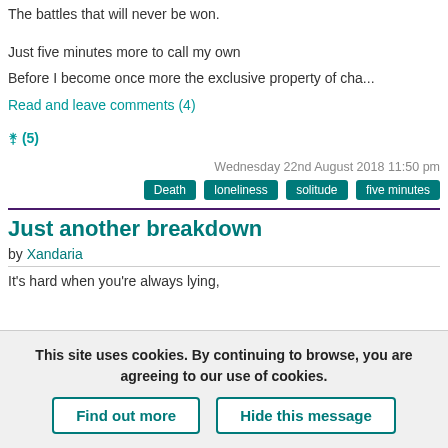The battles that will never be won.
Just five minutes more to call my own
Before I become once more the exclusive property of cha...
Read and leave comments (4)
⛥ (5)
Wednesday 22nd August 2018 11:50 pm
Death  loneliness  solitude  five minutes
Just another breakdown
by Xandaria
It's hard when you're always lying,
This site uses cookies. By continuing to browse, you are agreeing to our use of cookies.